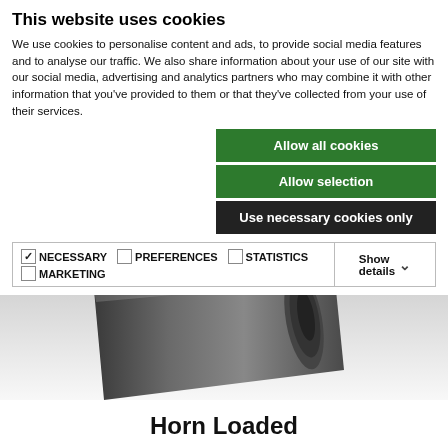This website uses cookies
We use cookies to personalise content and ads, to provide social media features and to analyse our traffic. We also share information about your use of our site with our social media, advertising and analytics partners who may combine it with other information that you've provided to them or that they've collected from your use of their services.
Allow all cookies
Allow selection
Use necessary cookies only
NECESSARY  PREFERENCES  STATISTICS  MARKETING  Show details
[Figure (photo): A dark gray cylindrical horn-loaded speaker component, partially visible, angled diagonally against a light gray background.]
Horn Loaded